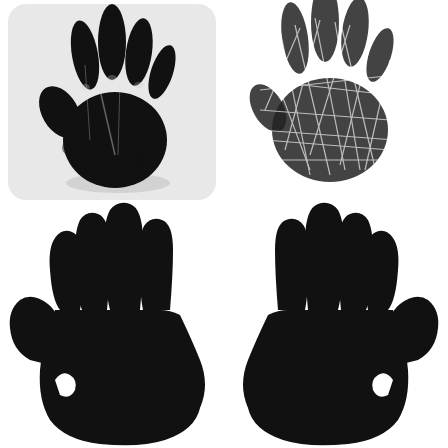[Figure (illustration): Four handprints arranged in a 2x2 grid. Top-left: a black inky handprint with shadow on a light gray rounded-square background. Top-right: a dark gray textured/scratched handprint on white background. Bottom-left: a large solid black silhouette handprint (left hand, fingers spread). Bottom-right: a large solid black silhouette handprint (right hand, fingers spread, mirrored).]